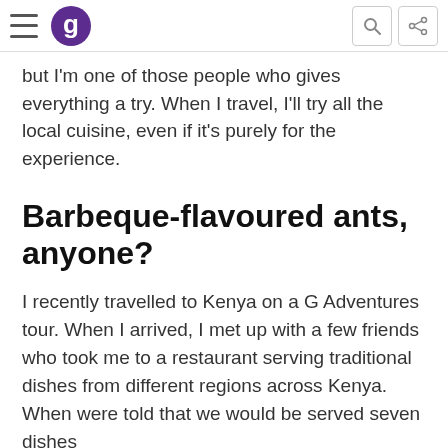[G Adventures logo and navigation bar]
but I'm one of those people who gives everything a try. When I travel, I'll try all the local cuisine, even if it's purely for the experience.
Barbeque-flavoured ants, anyone?
I recently travelled to Kenya on a G Adventures tour. When I arrived, I met up with a few friends who took me to a restaurant serving traditional dishes from different regions across Kenya. When were told that we would be served seven dishes